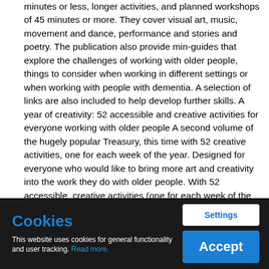minutes or less, longer activities, and planned workshops of 45 minutes or more. They cover visual art, music, movement and dance, performance and stories and poetry. The publication also provide min-guides that explore the challenges of working with older people, things to consider when working in different settings or when working with people with dementia. A selection of links are also included to help develop further skills. A year of creativity: 52 accessible and creative activities for everyone working with older people A second volume of the hugely popular Treasury, this time with 52 creative activities, one for each week of the year. Designed for everyone who would like to bring more art and creativity into the work they do with older people. With 52 accessible, creative activities (one for each week of the
Cookies
This website uses cookies for general functionality and user tracking. Read more.